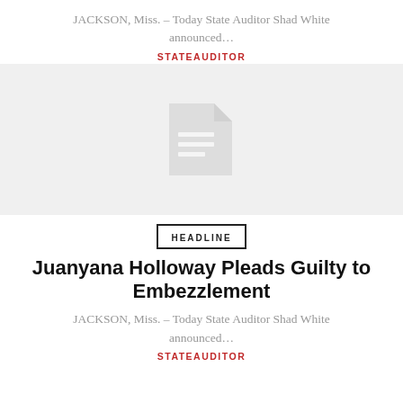JACKSON, Miss. – Today State Auditor Shad White announced...
STATEAUDITOR
[Figure (other): Gray placeholder box with a document icon in the center]
HEADLINE
Juanyana Holloway Pleads Guilty to Embezzlement
JACKSON, Miss. – Today State Auditor Shad White announced...
STATEAUDITOR